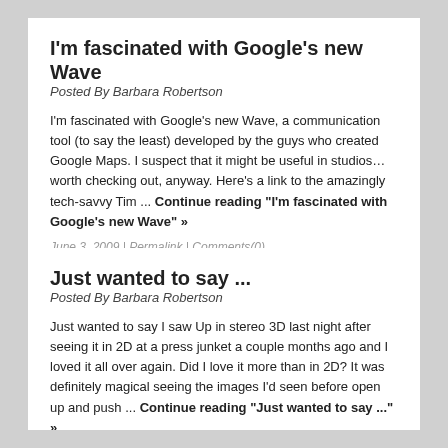I'm fascinated with Google's new Wave
Posted By Barbara Robertson
I'm fascinated with Google's new Wave, a communication tool (to say the least) developed by the guys who created Google Maps. I suspect that it might be useful in studios… worth checking out, anyway. Here's a link to the amazingly tech-savvy Tim ... Continue reading "I'm fascinated with Google's new Wave" »
June 3, 2009 | Permalink | Comments(0)
Just wanted to say ...
Posted By Barbara Robertson
Just wanted to say I saw Up in stereo 3D last night after seeing it in 2D at a press junket a couple months ago and I loved it all over again. Did I love it more than in 2D? It was definitely magical seeing the images I'd seen before open up and push ... Continue reading "Just wanted to say ..." »
June 2, 2009 | Permalink | Comments(1)